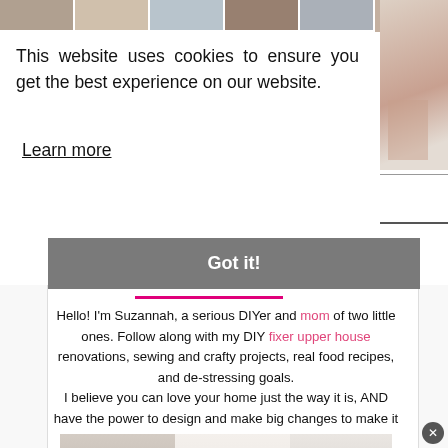[Figure (photo): Top strip of six small thumbnail images of home/lifestyle content]
[Figure (photo): Right side vertical photo strip showing clothing/wardrobe]
This website uses cookies to ensure you get the best experience on our website.
Learn more
Got it!
Hello! I'm Suzannah, a serious DIYer and mom of two little ones. Follow along with my DIY fixer upper house renovations, sewing and crafty projects, real food recipes, and de-stressing goals.
I believe you can love your home just the way it is, AND have the power to design and make big changes to make it better.
I'm also the author of DIY Wardrobe Makeovers!
[Figure (photo): Bottom photo of a woman (Suzannah) and white cabinetry in kitchen/closet area]